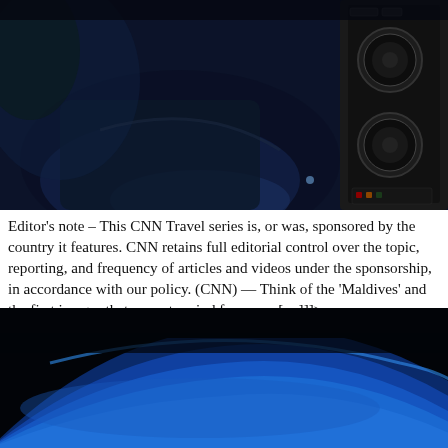[Figure (photo): Dark blue-toned cockpit interior photo showing a pilot's hand on controls, with instrument panel visible on the right side including round gauges and digital displays.]
Editor's note – This CNN Travel series is, or was, sponsored by the country it features. CNN retains full editorial control over the topic, reporting, and frequency of articles and videos under the sponsorship, in accordance with our policy. (CNN) — Think of the 'Maldives' and the first images that come to mind for many […]]]>
[Figure (photo): Dark aerial or underwater photo showing a bright blue curving horizon/surface against a black background, suggesting an aerial view of ocean or a seaplane window view.]